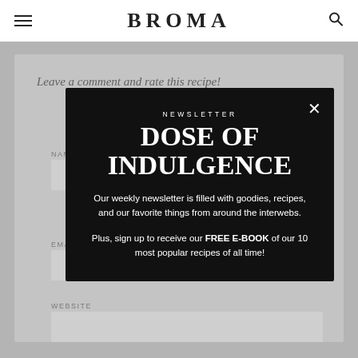BROMA
Leave a comment and rate this recipe!
NAME
EMAIL
WEBSITE
[Figure (screenshot): Newsletter popup modal on dark background with title 'NEWSLETTER DOSE OF INDULGENCE', body text about weekly newsletter, and free e-book offer.]
NEWSLETTER
DOSE OF INDULGENCE

Our weekly newsletter is filled with goodies, recipes, and our favorite things from around the interwebs.

Plus, sign up to receive our FREE E-BOOK of our 10 most popular recipes of all time!